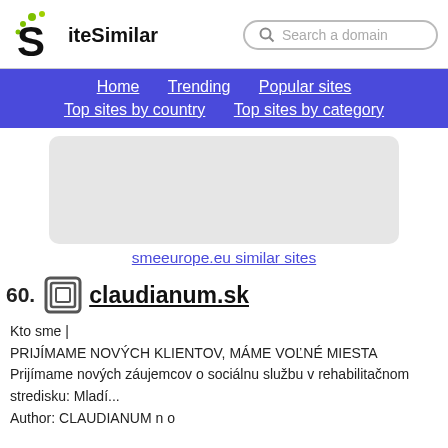SiteSimilar — Search a domain
[Figure (logo): SiteSimilar logo with stylized S and green dots]
Home  Trending  Popular sites  Top sites by country  Top sites by category
[Figure (screenshot): Gray preview thumbnail box for smeeurope.eu]
smeeurope.eu similar sites
60. claudianum.sk
Kto sme |
PRIJÍMAME NOVÝCH KLIENTOV, MÁME VOĽNÉ MIESTA Prijímame nových záujemcov o sociálnu službu v rehabilitačnom stredisku: Mladí...
Author: CLAUDIANUM n o